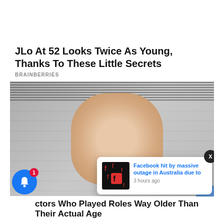JLo At 52 Looks Twice As Young, Thanks To These Little Secrets
BRAINBERRIES
[Figure (photo): Close-up photo of a woman with red-brown hair, wide eyes and open mouth showing surprise or shock, against a concrete/brick wall background]
Facebook hit by massive outage in Australia due to
3 hours ago
ctors Who Played Roles Way Older Than Their Actual Age